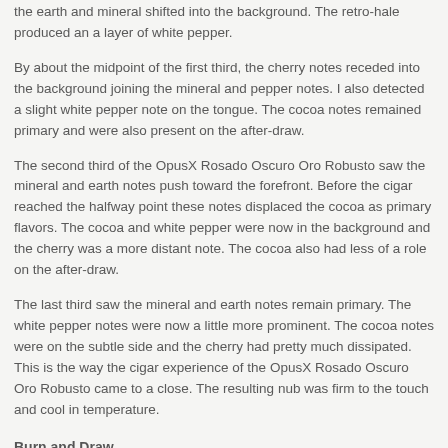the earth and mineral shifted into the background. The retro-hale produced an a layer of white pepper.
By about the midpoint of the first third, the cherry notes receded into the background joining the mineral and pepper notes. I also detected a slight white pepper note on the tongue. The cocoa notes remained primary and were also present on the after-draw.
The second third of the OpusX Rosado Oscuro Oro Robusto saw the mineral and earth notes push toward the forefront. Before the cigar reached the halfway point these notes displaced the cocoa as primary flavors. The cocoa and white pepper were now in the background and the cherry was a more distant note. The cocoa also had less of a role on the after-draw.
The last third saw the mineral and earth notes remain primary. The white pepper notes were now a little more prominent. The cocoa notes were on the subtle side and the cherry had pretty much dissipated. This is the way the cigar experience of the OpusX Rosado Oscuro Oro Robusto came to a close. The resulting nub was firm to the touch and cool in temperature.
Burn and Draw